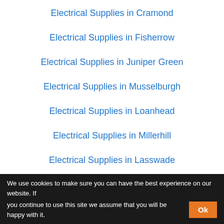Electrical Supplies in Cramond
Electrical Supplies in Fisherrow
Electrical Supplies in Juniper Green
Electrical Supplies in Musselburgh
Electrical Supplies in Loanhead
Electrical Supplies in Millerhill
Electrical Supplies in Lasswade
Electrical Supplies in Turnhouse
Electrical Supplies in Gogar
Electrical Supplies in Currie
We use cookies to make sure you can have the best experience on our website. If you continue to use this site we assume that you will be happy with it.